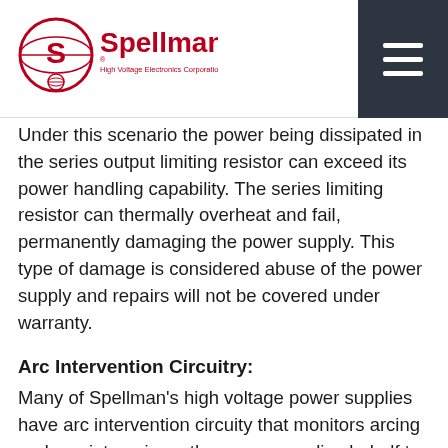Spellman High Voltage Electronics Corporation
Under this scenario the power being dissipated in the series output limiting resistor can exceed its power handling capability. The series limiting resistor can thermally overheat and fail, permanently damaging the power supply. This type of damage is considered abuse of the power supply and repairs will not be covered under warranty.
Arc Intervention Circuitry:
Many of Spellman's high voltage power supplies have arc intervention circuity that monitors arcing and can intervein on the power supplies behalf to prevent continuous arcing from damaging the power supply. Some of Spellman's less expensive modular power supplies have no arc intervention circuitry so care must be taken